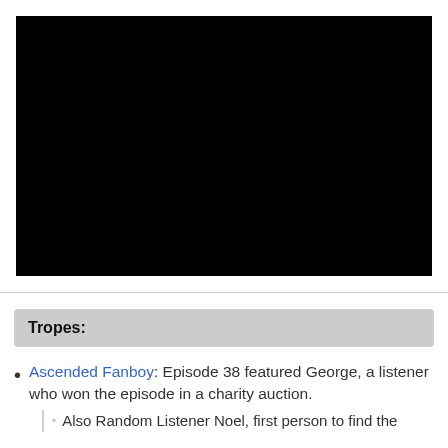[Figure (screenshot): Black video player embed, full black rectangle]
Tropes:
Ascended Fanboy: Episode 38 featured George, a listener who won the episode in a charity auction.
Also Random Listener Noel, first person to find the